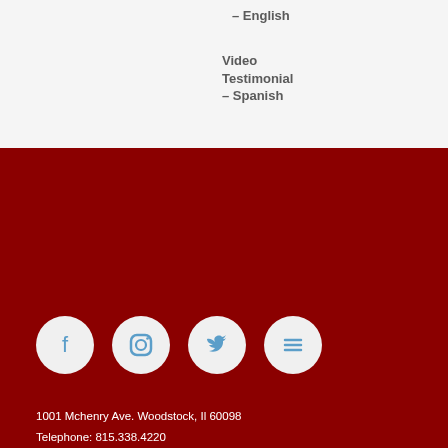– English
Video Testimonial – Spanish
[Figure (illustration): Four social media icons (Facebook, Instagram, Twitter, menu/hamburger) as white circles on dark red background]
1001 Mchenry Ave. Woodstock, Il 60098
Telephone: 815.338.4220
Fax: 815.338.4253
© 2016 Marian Central Catholic High School
Site Designed By Turnkey Digital